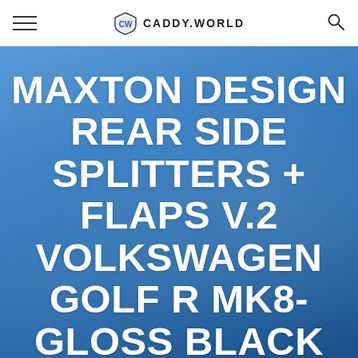CADDY.WORLD
MAXTON DESIGN REAR SIDE SPLITTERS + FLAPS V.2 VOLKSWAGEN GOLF R MK8- GLOSS BLACK